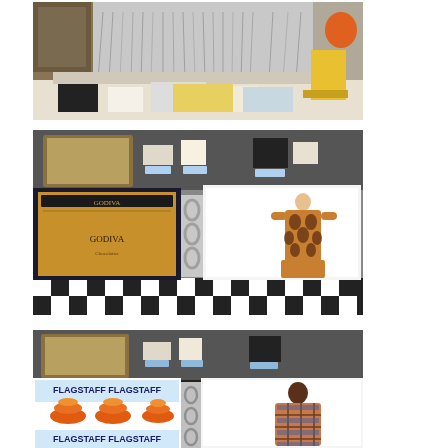[Figure (photo): A table display with various items, fringe decorations in the background, yellow chair visible, party/sale table setup]
[Figure (photo): Open binder/portfolio on a black and white checkered surface showing a Godiva chocolate box on the left page and a fashion sketch of a patterned dress on the right page. Small framed items and display cards visible in the background.]
[Figure (photo): Similar open binder on checkered surface showing Flagstaff branded items with orange cups/bowls imagery on the left page and a person wearing a patterned outfit on the right page. Display items visible in background.]